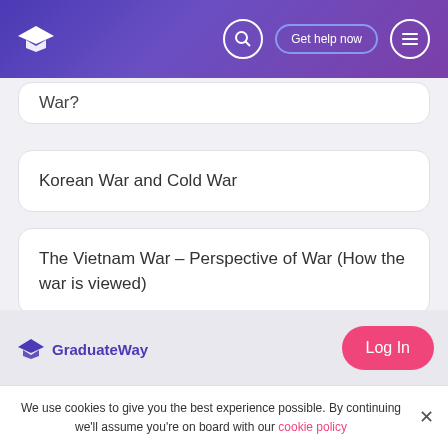GraduateWay – Get help now
War?
Korean War and Cold War
The Vietnam War – Perspective of War (How the war is viewed)
[Figure (other): Pagination dots: one filled blue dot and two empty circle dots]
GraduateWay
Log In
We use cookies to give you the best experience possible. By continuing we'll assume you're on board with our cookie policy